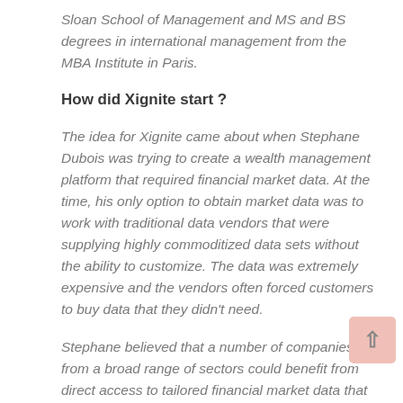Sloan School of Management and MS and BS degrees in international management from the MBA Institute in Paris.
How did Xignite start ?
The idea for Xignite came about when Stephane Dubois was trying to create a wealth management platform that required financial market data. At the time, his only option to obtain market data was to work with traditional data vendors that were supplying highly commoditized data sets without the ability to customize. The data was extremely expensive and the vendors often forced customers to buy data that they didn't need.
Stephane believed that a number of companies from a broad range of sectors could benefit from direct access to tailored financial market data that could be purchased in a more cost-effective way. The idea behind Xignite was born and the company was created in 2006. Around that time, there were developments in cloud technology and more user friendly programming interfaces, in the form of APIs. The developments provided the tools to solve the data problem.